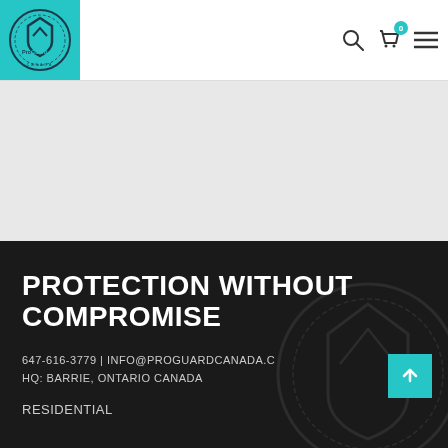[Figure (logo): ProGuard Canada logo - circular emblem with house/shield icon on teal background square]
[Figure (screenshot): Navigation bar icons: search magnifying glass, shopping cart with '0' badge in teal, hamburger menu lines]
PROTECTION WITHOUT COMPROMISE
647-616-3779 | INFO@PROGUARDCANADA.C HQ: BARRIE, ONTARIO CANADA
RESIDENTIAL